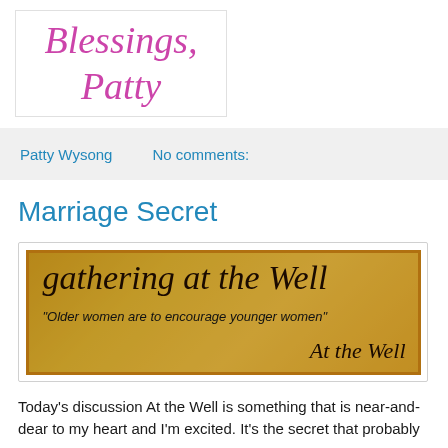[Figure (illustration): Handwritten cursive signature reading 'Blessings, Patty' in pink/magenta calligraphy on white background with light border]
Patty Wysong    No comments:
Marriage Secret
[Figure (illustration): Banner image for 'Gathering at the Well' with gold/brown background, sepia floral imagery, cursive title text, subtitle 'Older women are to encourage younger women', and attribution 'At the Well']
Today's discussion At the Well is something that is near-and-dear to my heart and I'm excited. It's the secret that probably